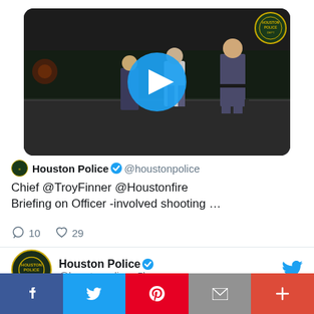[Figure (screenshot): Video thumbnail showing police officers at night on a street, with a blue circular play button overlay and HPD badge in top-right corner]
Houston Police @houstonpolice
Chief @TroyFinner @Houstonfire Briefing on Officer -involved shooting …
10 replies, 29 likes
Houston Police @houstonpolice · 5h
Replying to @houstonpolice
[Figure (infographic): Share bar with Facebook, Twitter, Pinterest, Email, and More buttons]